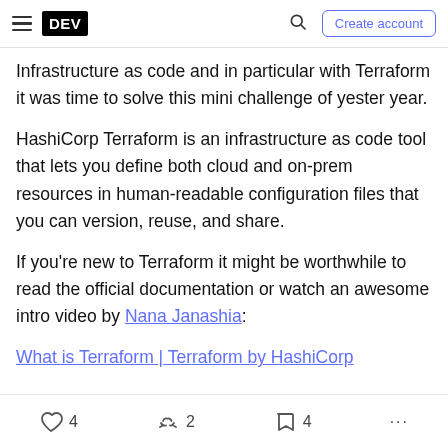DEV | Create account
Infrastructure as code and in particular with Terraform it was time to solve this mini challenge of yester year.
HashiCorp Terraform is an infrastructure as code tool that lets you define both cloud and on-prem resources in human-readable configuration files that you can version, reuse, and share.
If you’re new to Terraform it might be worthwhile to read the official documentation or watch an awesome intro video by Nana Janashia:
What is Terraform | Terraform by HashiCorp
4   2   4   ...